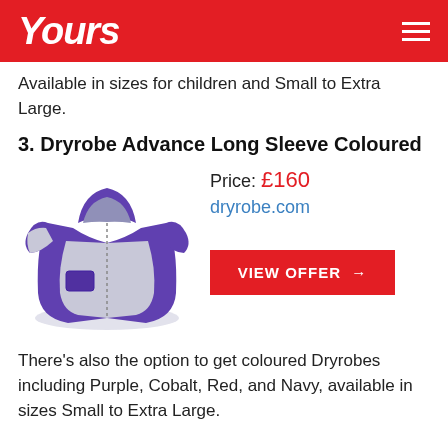Yours
Available in sizes for children and Small to Extra Large.
3. Dryrobe Advance Long Sleeve Coloured
[Figure (photo): Purple Dryrobe Advance Long Sleeve robe with grey fleece lining, shown open and spread out]
Price: £160
dryrobe.com
VIEW OFFER →
There's also the option to get coloured Dryrobes including Purple, Cobalt, Red, and Navy, available in sizes Small to Extra Large.